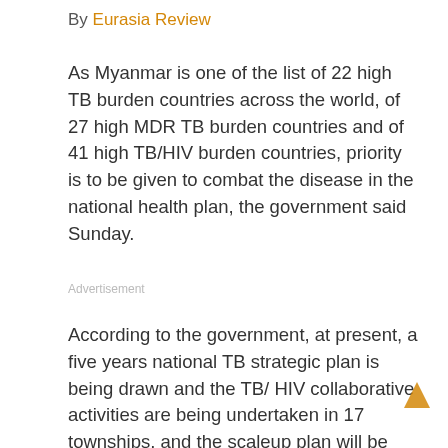By Eurasia Review
As Myanmar is one of the list of 22 high TB burden countries across the world, of 27 high MDR TB burden countries and of 41 high TB/HIV burden countries, priority is to be given to combat the disease in the national health plan, the government said Sunday.
Advertisement
According to the government, at present, a five years national TB strategic plan is being drawn and the TB/ HIV collaborative activities are being undertaken in 17 townships, and the scaleup plan will be extended.
A total of 300 patients were treated with MDR-TB in the two-year plan that commenced in July 2009.